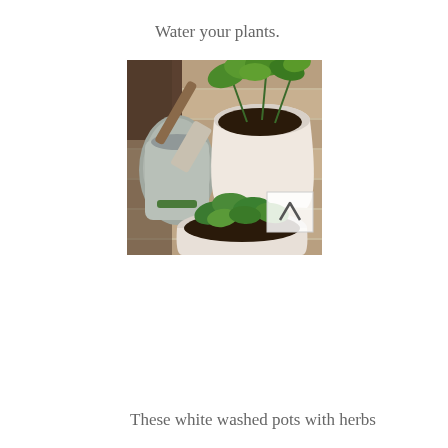Water your plants.
[Figure (photo): Overhead view of potted herb plants on a wooden surface. A white pot with basil (dark soil, bright green leaves) is in the center-right. A round white pot with mint or similar herb is in the bottom center. A trowel and a bag of potting soil are on the left. A small navigation arrow icon appears in a white square box overlay in the bottom-right area of the image.]
These white washed pots with herbs